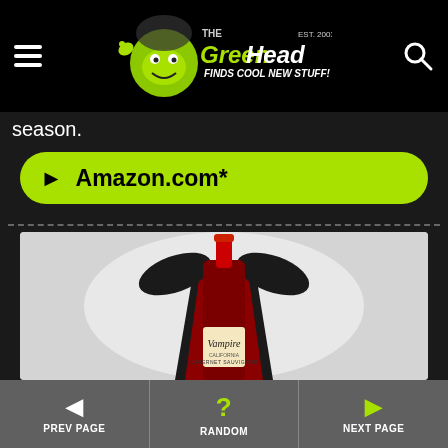The Green Head - Finds Cool New Stuff!
season.
► Amazon.com*
[Figure (photo): A wine bottle labeled 'Vampire Cabernet Sauvignon' dressed in a black Dracula cape with red lining and a black collar around its neck, on a light gray background.]
◄ PREV PAGE    ? RANDOM    ► NEXT PAGE